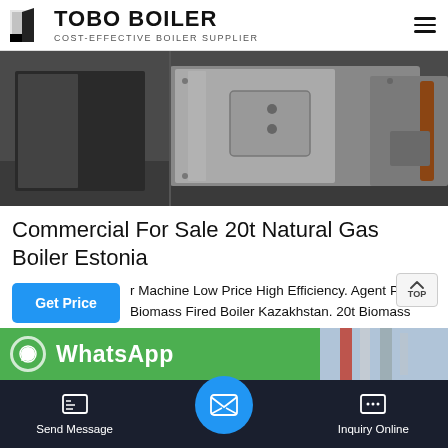TOBO BOILER — COST-EFFECTIVE BOILER SUPPLIER
[Figure (photo): Industrial stainless steel boilers in a workshop/factory setting, showing large metallic enclosures with handles and pipes]
Commercial For Sale 20t Natural Gas Boiler Estonia
Machine Low Price High Efficiency. Agent Price Biomass Fired Boiler Kazakhstan. 20t Biomass Fired Boiler Plant Agent Price Kazakhstan. 20t oil gas fired boiler-Industrial boiler manufacturer. 20t industrial boiler 20 ton industri…
[Figure (screenshot): WhatsApp contact bar (green) and a background industrial pipes image on the right]
Send Message | Inquiry Online